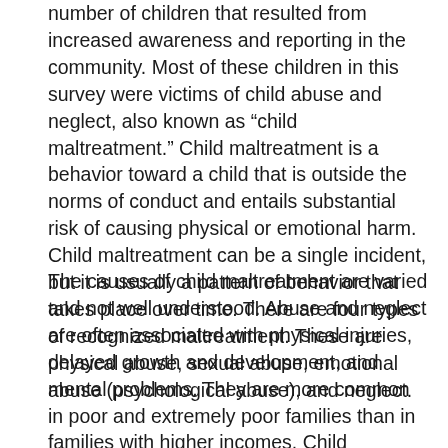number of children that resulted from increased awareness and reporting in the community. Most of these children in this survey were victims of child abuse and neglect, also known as “child maltreatment.” Child maltreatment is a behavior toward a child that is outside the norms of conduct and entails substantial risk of causing physical or emotional harm. Child maltreatment can be a single incident, but it is usually a pattern of behavior that takes place over time. There are four types of recognized maltreatment. These are physical abuse, sexual abuse, emotional abuse (psychological abuse), and neglect.
The causes of child maltreatment are varied and not well understood. Abuse and neglect are often associated with physical injuries, delayed growth and development, and mental problems. They are more common in poor and extremely poor families than in families with higher incomes. Child maltreatment is also associated with psychological and emotional problems such as aggression.